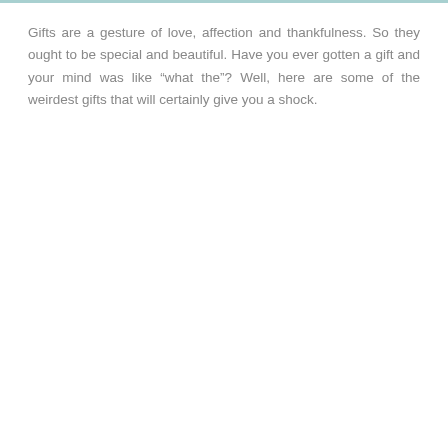Gifts are a gesture of love, affection and thankfulness. So they ought to be special and beautiful. Have you ever gotten a gift and your mind was like “what the”? Well, here are some of the weirdest gifts that will certainly give you a shock.